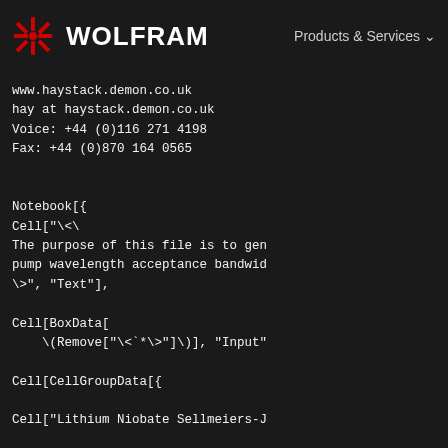WOLFRAM    Products & Services
www.haystack.demon.co.uk
hay at haystack.demon.co.uk
Voice: +44 (0)116 271 4198
Fax: +44 (0)870 164 0565
Notebook[{
Cell["\<\
The purpose of this file is to gen
pump wavelength acceptance bandwid
\>", "Text"],

Cell[BoxData[
    \(Remove["\<`*\>"\)], "Input"

Cell[CellGroupData[{

Cell["Lithium Niobate Sellmeiers-J

Cell["\<\
This version is used in the snlo.e
fiber pumped OPO.  Reference:  Die
Sellmeiers equation for the index
niobate.
 Optics Letters 15 October 1997, p
\>", "Text"],